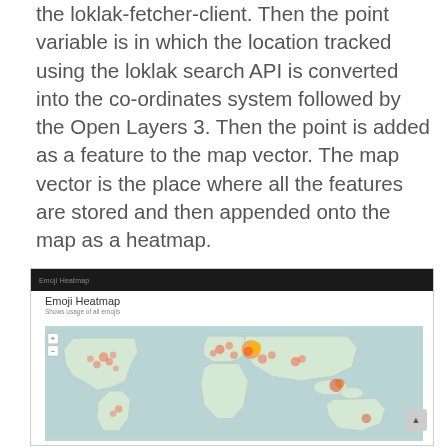the loklak-fetcher-client. Then the point variable is in which the location tracked using the loklak search API is converted into the co-ordinates system followed by the Open Layers 3. Then the point is added as a feature to the map vector. The map vector is the place where all the features are stored and then appended onto the map as a heatmap.
[Figure (screenshot): A screenshot of an Emoji Heatmap web application showing a world map with heat spots indicating emoji usage by geographic location. The map has a teal/grey background with colored heat spots (red, orange, yellow) concentrated in Europe, South/Southeast Asia, and scattered across the Americas.]